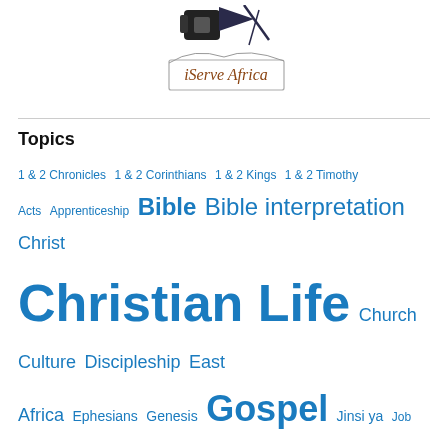[Figure (logo): iServe Africa logo with microphone/camera icon and text 'iServe Africa' in a rectangular banner]
Topics
1 & 2 Chronicles  1 & 2 Corinthians  1 & 2 Kings  1 & 2 Timothy  Acts  Apprenticeship  Bible  Bible interpretation  Christ  Christian Life  Church  Culture  Discipleship  East Africa  Ephesians  Genesis  Gospel  Jinsi ya  Job  John  Luke  Matthew  Ministry  Mission  Prayer  Preaching  Psalms  Servant Leadership  Theology  Uncategorized